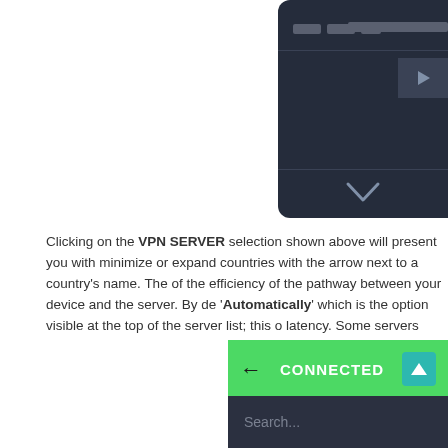[Figure (screenshot): Top portion of a dark-themed VPN server selection interface screenshot, partially cropped, showing a dark panel with a downward chevron arrow and some blurred/pixelated text elements.]
Clicking on the VPN SERVER selection shown above will present you with minimize or expand countries with the arrow next to a country's name. The of the efficiency of the pathway between your device and the server. By de 'Automatically' which is the option visible at the top of the server list; this o latency. Some servers display a small globe next to their names, indicating users to access servers infrequently restricted or problematic locations, wh the exit node. The heart next to each server can be used to indicate the re QUICK CONNECT menu. Clicking on the left-pointing arrow at the top left interface.
[Figure (screenshot): Bottom portion of a VPN app interface screenshot showing a green header bar with 'CONNECTED' text and a left-pointing arrow, a teal/cyan upward arrow button, and a dark search panel below with a 'Search...' placeholder.]